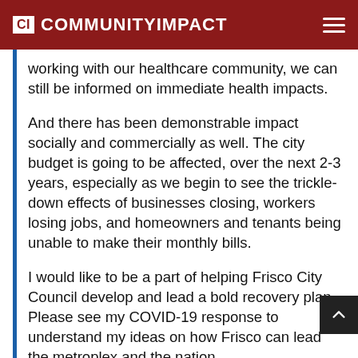CI COMMUNITYIMPACT
working with our healthcare community, we can still be informed on immediate health impacts.
And there has been demonstrable impact socially and commercially as well. The city budget is going to be affected, over the next 2-3 years, especially as we begin to see the trickle-down effects of businesses closing, workers losing jobs, and homeowners and tenants being unable to make their monthly bills.
I would like to be a part of helping Frisco City Council develop and lead a bold recovery plan. Please see my COVID-19 response to understand my ideas on how Frisco can lead the metroplex and the nation.